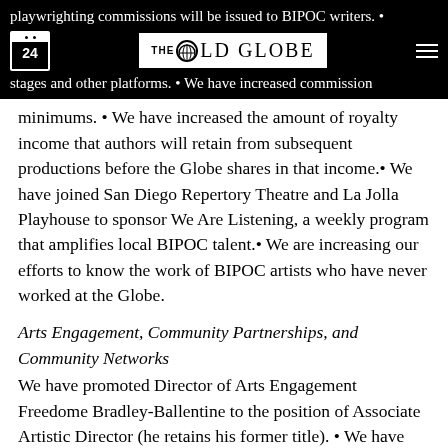playwrighting commissions will be issued to BIPOC writers. • We have committed to equitable rates across our stages and other platforms. • We have increased commission
[Figure (logo): The Old Globe logo with calendar icon showing 24]
minimums. • We have increased the amount of royalty income that authors will retain from subsequent productions before the Globe shares in that income.• We have joined San Diego Repertory Theatre and La Jolla Playhouse to sponsor We Are Listening, a weekly program that amplifies local BIPOC talent.• We are increasing our efforts to know the work of BIPOC artists who have never worked at the Globe.
Arts Engagement, Community Partnerships, and Community Networks
We have promoted Director of Arts Engagement Freedome Bradley-Ballentine to the position of Associate Artistic Director (he retains his former title). • We have reaffirmed our commitment to support the San Diego Black Artist Collective and to deepen our commitment to San Diego's